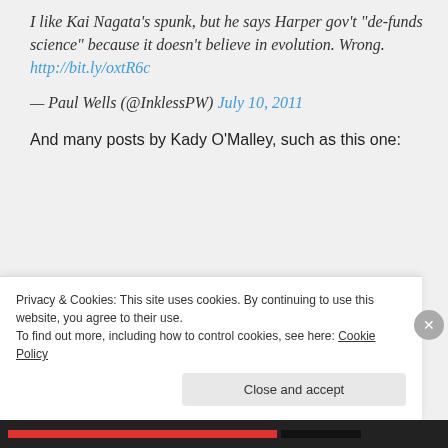I like Kai Nagata's spunk, but he says Harper gov't "de-funds science" because it doesn't believe in evolution. Wrong. http://bit.ly/oxtR6c
— Paul Wells (@InklessPW) July 10, 2011
And many posts by Kady O'Malley, such as this one:
[Figure (screenshot): Embedded tweet card showing kady o'malley with verified badge and Twitter bird logo]
Privacy & Cookies: This site uses cookies. By continuing to use this website, you agree to their use. To find out more, including how to control cookies, see here: Cookie Policy